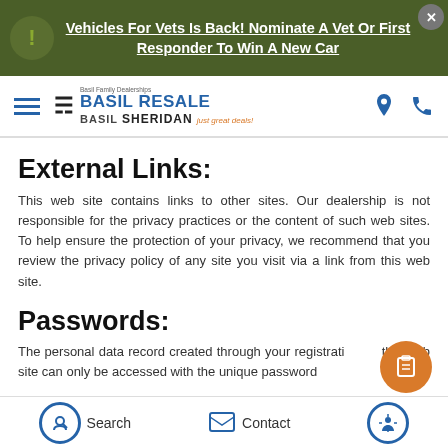Vehicles For Vets Is Back! Nominate A Vet Or First Responder To Win A New Car
[Figure (logo): Basil Resale Sheridan dealership logo with navigation icons]
External Links:
This web site contains links to other sites. Our dealership is not responsible for the privacy practices or the content of such web sites. To help ensure the protection of your privacy, we recommend that you review the privacy policy of any site you visit via a link from this web site.
Passwords:
The personal data record created through your registration on this web site can only be accessed with the unique password
Search   Contact